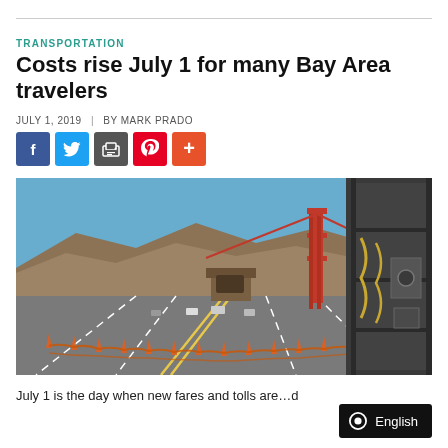TRANSPORTATION
Costs rise July 1 for many Bay Area travelers
JULY 1, 2019  |  BY MARK PRADO
[Figure (photo): View from a vehicle approaching the Golden Gate Bridge with orange cones and barriers on a highway. The iconic red towers of the Golden Gate Bridge are visible in the background against a clear blue sky with hills.]
July 1 is the day when new fares and tolls are...d